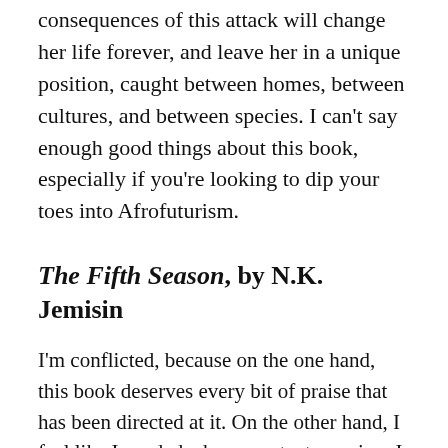consequences of this attack will change her life forever, and leave her in a unique position, caught between homes, between cultures, and between species. I can't say enough good things about this book, especially if you're looking to dip your toes into Afrofuturism.
The Fifth Season, by N.K. Jemisin
I'm conflicted, because on the one hand, this book deserves every bit of praise that has been directed at it. On the other hand, I feel like I needed a huge content warning. I loved it, but I know that my wife would hate it, because it deals heavily with the lasting repercussions of a horrific trauma suffered by the main character. So, I guess I'll give that content warning here: trigger